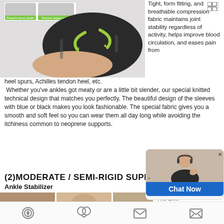[Figure (photo): Product photo of ankle compression sleeve in black with green arrows, and small inset showing 'Prevent varus sprain / Prevent valgus sprain' label]
Tight, form fitting, and breathable compression fabric maintains joint stability regardless of activity, helps improve blood circulation, and eases pain from heel spurs, Achilles tendon heel, etc.
Whether you've ankles got meaty or are a little bit slender, our special knitted technical design that matches you perfectly. The beautiful design of the sleeves with blue or black makes you look fashionable. The special fabric gives you a smooth and soft feel so you can wear them all day long while avoiding the itchiness common to neoprene supports.
(2)MODERATE / SEMI-RIGID SUPPORT
Ankle Stabilizer
[Figure (photo): Partial product images at bottom showing ankle stabilizer from multiple angles]
[Figure (photo): Chat now widget with agent photo and blue Chat Now button]